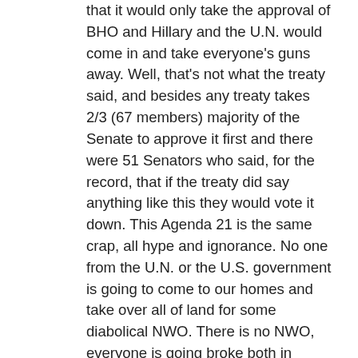that it would only take the approval of BHO and Hillary and the U.N. would come in and take everyone's guns away. Well, that's not what the treaty said, and besides any treaty takes 2/3 (67 members) majority of the Senate to approve it first and there were 51 Senators who said, for the record, that if the treaty did say anything like this they would vote it down. This Agenda 21 is the same crap, all hype and ignorance. No one from the U.N. or the U.S. government is going to come to our homes and take over all of land for some diabolical NWO. There is no NWO, everyone is going broke both in Europe and here in America, it's almost over for us financially. No Money=No NWO ! We have been in a slow crash for so long it doesn't even seem like one. Things have been getting worse for decades and we've all just gotten use to